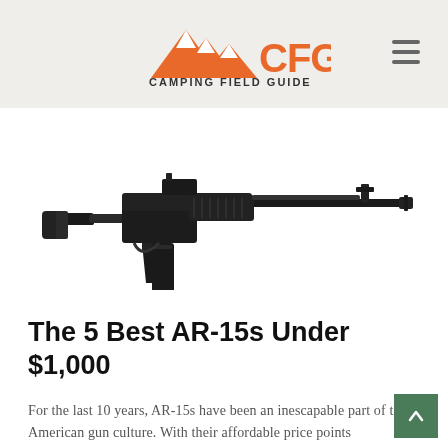CFG CAMPING FIELD GUIDE
[Figure (photo): A black AR-15 style semi-automatic rifle shown in profile against a white background, with a collapsible stock, pistol grip, vertical foregrip, and extended magazine.]
The 5 Best AR-15s Under $1,000
For the last 10 years, AR-15s have been an inescapable part of the American gun culture. With their affordable price points